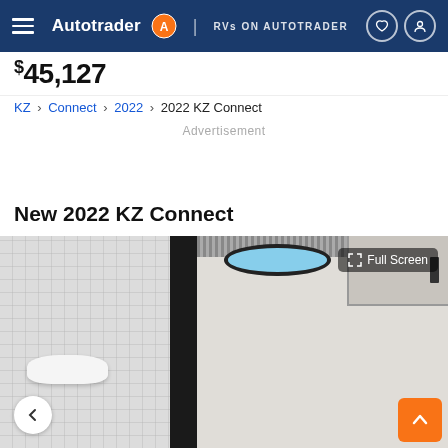Autotrader | RVs ON AUTOTRADER
$45,127
KZ › Connect › 2022 › 2022 KZ Connect
Advertisement
New 2022 KZ Connect
[Figure (photo): Interior photo of a 2022 KZ Connect RV showing a bathroom/bedroom area with white tile walls, a black door frame, an oval window with blue sky visible, overhead cabinets, and a woven shade valance. A Full Screen button overlay appears in the upper right of the image.]